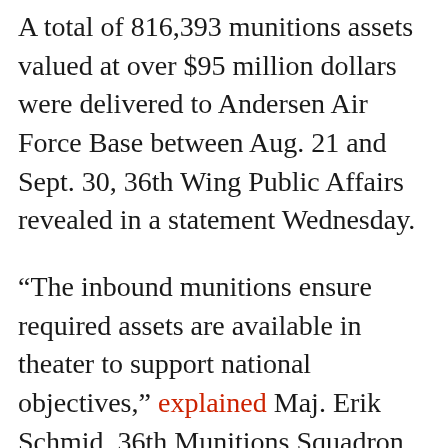A total of 816,393 munitions assets valued at over $95 million dollars were delivered to Andersen Air Force Base between Aug. 21 and Sept. 30, 36th Wing Public Affairs revealed in a statement Wednesday.
“The inbound munitions ensure required assets are available in theater to support national objectives,” explained Maj. Erik Schmid, 36th Munitions Squadron commander. “The munitions will increase the overall availability of day-to-day training assets and War Reserve Material stocks to support